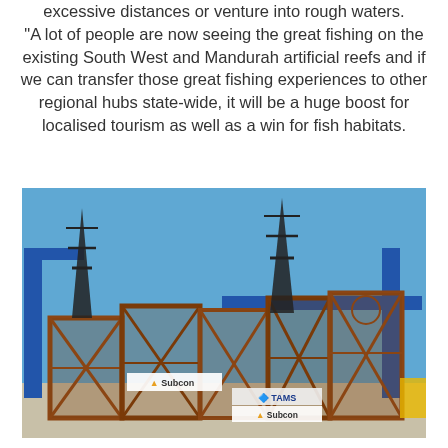excessive distances or venture into rough waters. "A lot of people are now seeing the great fishing on the existing South West and Mandurah artificial reefs and if we can transfer those great fishing experiences to other regional hubs state-wide, it will be a huge boost for localised tourism as well as a win for fish habitats.
[Figure (photo): Large rusty steel artificial reef modules assembled at a port/industrial facility, with blue crane structures visible in the background. Banners reading 'Subcon' and 'TAMS' are visible on the structures. The modules have a lattice/frame construction.]